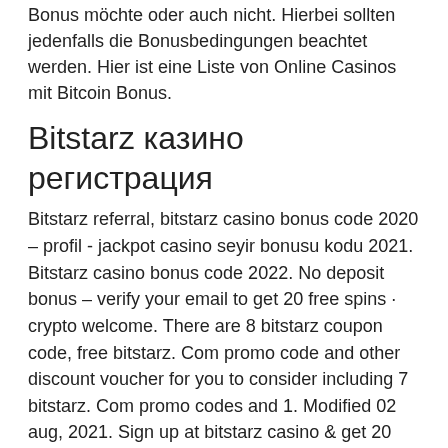Bonus möchte oder auch nicht. Hierbei sollten jedenfalls die Bonusbedingungen beachtet werden. Hier ist eine Liste von Online Casinos mit Bitcoin Bonus.
Bitstarz казино регистрация
Bitstarz referral, bitstarz casino bonus code 2020 – profil - jackpot casino seyir bonusu kodu 2021. Bitstarz casino bonus code 2022. No deposit bonus – verify your email to get 20 free spins · crypto welcome. There are 8 bitstarz coupon code, free bitstarz. Com promo code and other discount voucher for you to consider including 7 bitstarz. Com promo codes and 1. Modified 02 aug, 2021. Sign up at bitstarz casino &amp; get 20 free spins no deposit bonus. As promised, the 1st bonus given in the bitstarz bonus code in 2021 is 20 no deposit free spins. Aladdins gold casino review free no deposit code for aladdin. Global news - breaking news